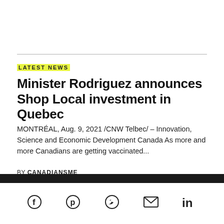LATEST NEWS
Minister Rodriguez announces Shop Local investment in Quebec
MONTRÉAL, Aug. 9, 2021 /CNW Telbec/ – Innovation, Science and Economic Development Canada As more and more Canadians are getting vaccinated...
BY CANADIANSME
Social media icons: Facebook, Pinterest, Twitter, Email, LinkedIn